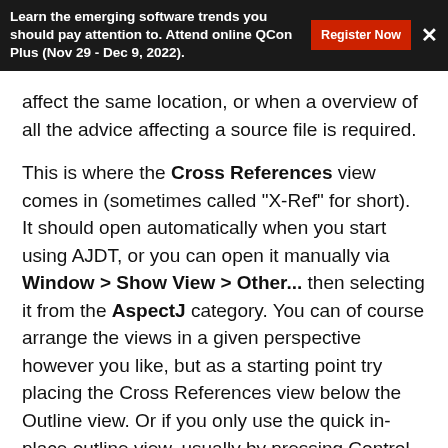Learn the emerging software trends you should pay attention to. Attend online QCon Plus (Nov 29 - Dec 9, 2022).
affect the same location, or when a overview of all the advice affecting a source file is required.
This is where the Cross References view comes in (sometimes called "X-Ref" for short). It should open automatically when you start using AJDT, or you can open it manually via Window > Show View > Other... then selecting it from the AspectJ category. You can of course arrange the views in a given perspective however you like, but as a starting point try placing the Cross References view below the Outline view. Or if you only use the quick in-place outline view, usually by pressing Control-O, you can do the same with the Cross References view from the Navigate menu or by pressing Alt-Shift-P